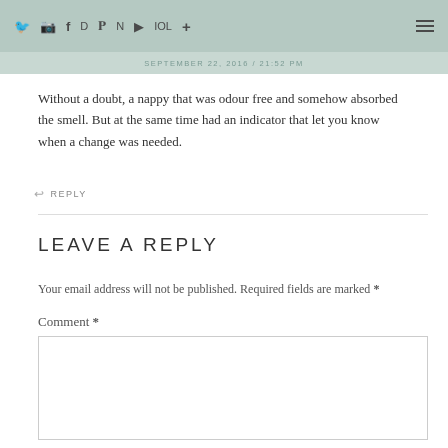Social media icons and menu
SEPTEMBER 22, 2016 / 21:52 PM
Without a doubt, a nappy that was odour free and somehow absorbed the smell. But at the same time had an indicator that let you know when a change was needed.
↩ REPLY
LEAVE A REPLY
Your email address will not be published. Required fields are marked *
Comment *